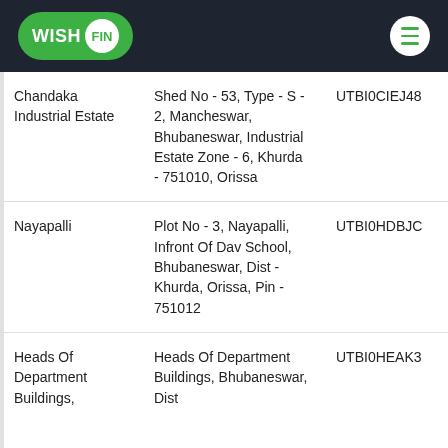WISH FIN
| Branch | Address | Code |
| --- | --- | --- |
| Chandaka Industrial Estate | Shed No - 53, Type - S - 2, Mancheswar, Bhubaneswar, Industrial Estate Zone - 6, Khurda - 751010, Orissa | UTBI0CIEJ48 |
| Nayapalli | Plot No - 3, Nayapalli, Infront Of Dav School, Bhubaneswar, Dist - Khurda, Orissa, Pin - 751012 | UTBI0HDBJC |
| Heads Of Department Buildings, | Heads Of Department Buildings, Bhubaneswar, Dist | UTBI0HEAK3 |